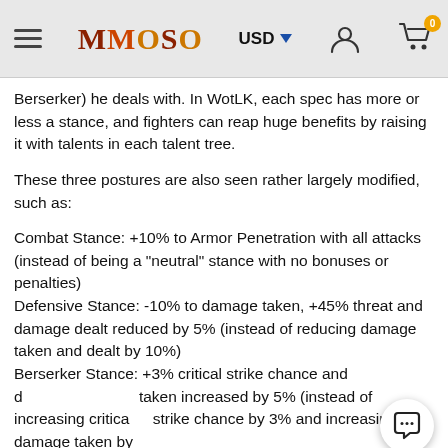MMOSO | USD | navigation icons
Berserker) he deals with. In WotLK, each spec has more or less a stance, and fighters can reap huge benefits by raising it with talents in each talent tree.
These three postures are also seen rather largely modified, such as:
Combat Stance: +10% to Armor Penetration with all attacks (instead of being a "neutral" stance with no bonuses or penalties)
Defensive Stance: -10% to damage taken, +45% threat and damage dealt reduced by 5% (instead of reducing damage taken and dealt by 10%)
Berserker Stance: +3% critical strike chance and damage taken increased by 5% (instead of increasing critical strike chance by 3% and increasing damage taken by